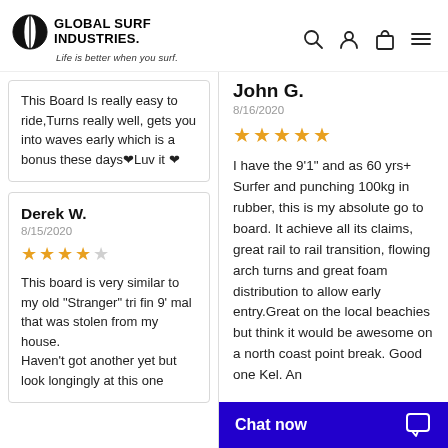Global Surf Industries — Life is better when you surf.
This Board Is really easy to ride,Turns really well, gets you into waves early which is a bonus these days❤Luv it ❤
Derek W.
8/15/2020
★★★★☆
This board is very similar to my old "Stranger" tri fin 9' mal that was stolen from my house. Haven't got another yet but look longingly at this one
John G.
8/16/2020
★★★★★
I have the 9'1" and as 60 yrs+ Surfer and punching 100kg in rubber, this is my absolute go to board. It achieve all its claims, great rail to rail transition, flowing arch turns and great foam distribution to allow early entry.Great on the local beachies but think it would be awesome on a north coast point break. Good one Kel. An